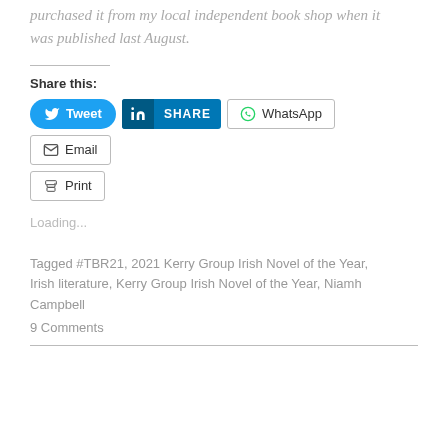purchased it from my local independent book shop when it was published last August.
Share this:
[Figure (other): Social share buttons: Tweet (Twitter/blue), SHARE (LinkedIn/blue), WhatsApp, Email, Print]
Loading...
Tagged #TBR21, 2021 Kerry Group Irish Novel of the Year, Irish literature, Kerry Group Irish Novel of the Year, Niamh Campbell
9 Comments